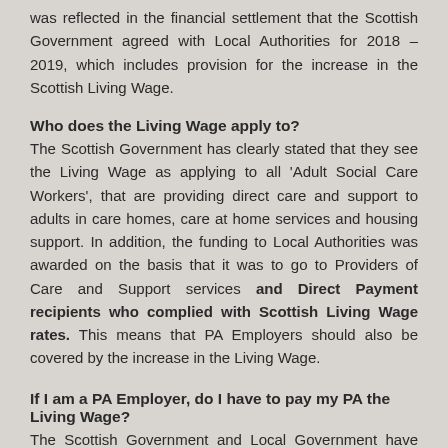was reflected in the financial settlement that the Scottish Government agreed with Local Authorities for 2018 – 2019, which includes provision for the increase in the Scottish Living Wage.
Who does the Living Wage apply to?
The Scottish Government has clearly stated that they see the Living Wage as applying to all 'Adult Social Care Workers', that are providing direct care and support to adults in care homes, care at home services and housing support. In addition, the funding to Local Authorities was awarded on the basis that it was to go to Providers of Care and Support services and Direct Payment recipients who complied with Scottish Living Wage rates. This means that PA Employers should also be covered by the increase in the Living Wage.
If I am a PA Employer, do I have to pay my PA the Living Wage?
The Scottish Government and Local Government have both been committed to and therefore the Living Wage has been applied to